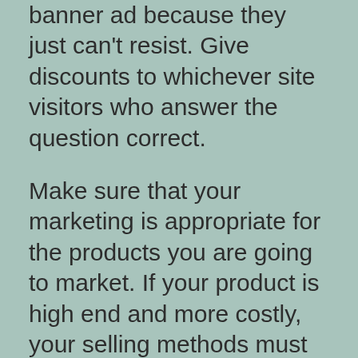Most people will feel compelled to click the banner ad because they just can't resist. Give discounts to whichever site visitors who answer the question correct.
Make sure that your marketing is appropriate for the products you are going to market. If your product is high end and more costly, your selling methods must be very focused and very intense since you will not be counting on volume to make a profit.
This will help draw more customers in to buy what you are selling. Make sure that your reviews as specific and detailed to give people